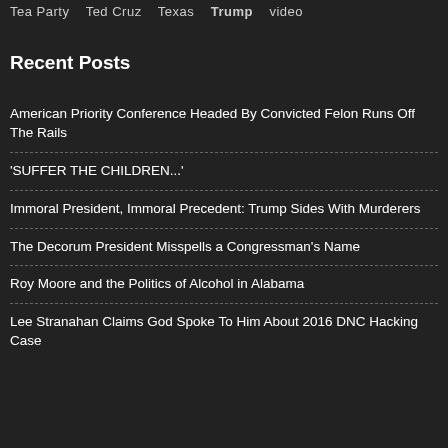Tea Party   Ted Cruz   Texas   Trump   video
Recent Posts
American Priority Conference Headed By Convicted Felon Runs Off The Rails
'SUFFER THE CHILDREN...'
Immoral President, Immoral Precedent: Trump Sides With Murderers
The Decorum President Misspells a Congressman's Name
Roy Moore and the Politics of Alcohol in Alabama
Lee Stranahan Claims God Spoke To Him About 2016 DNC Hacking Case